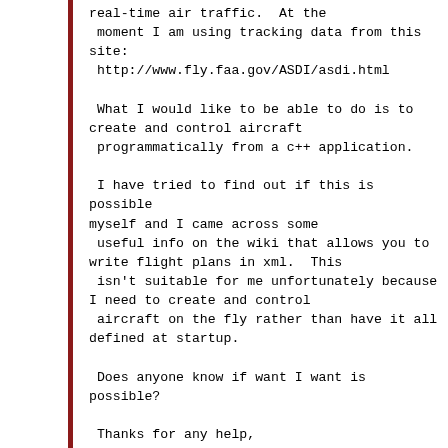real-time air traffic.  At the
 moment I am using tracking data from this
site:
 http://www.fly.faa.gov/ASDI/asdi.html

 What I would like to be able to do is to
create and control aircraft
 programmatically from a c++ application.

 I have tried to find out if this is possible
myself and I came across some
 useful info on the wiki that allows you to
write flight plans in xml.  This
 isn't suitable for me unfortunately because
I need to create and control
 aircraft on the fly rather than have it all
defined at startup.

 Does anyone know if want I want is possible?

 Thanks for any help,

 Barry.